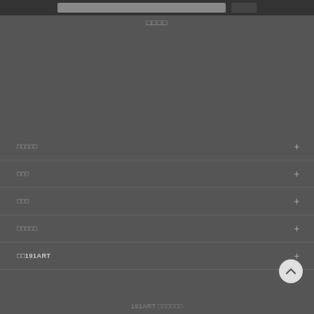□□□□
□□□□
□□□□□
□□□
□□□
□□□□□
□□191ART
191ART □□□□□□